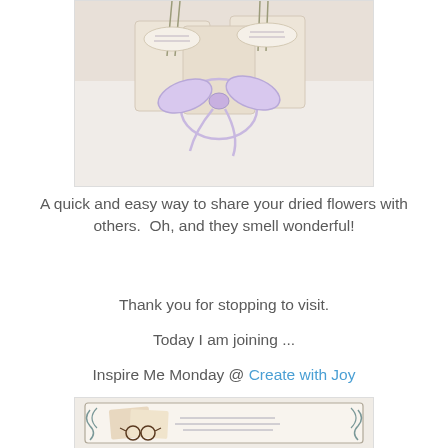[Figure (photo): Photo of small fabric sachets tied with lavender ribbons, with handwritten labels]
A quick and easy way to share your dried flowers with others.  Oh, and they smell wonderful!
Thank you for stopping to visit.
Today I am joining ...
Inspire Me Monday @ Create with Joy
[Figure (illustration): Decorative vintage-style illustration with ornate frame and handwritten script]